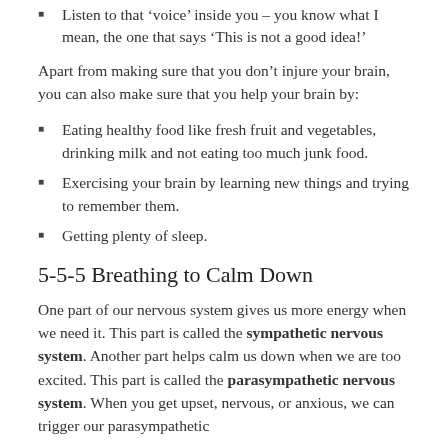Listen to that ‘voice’ inside you – you know what I mean, the one that says ‘This is not a good idea!’
Apart from making sure that you don’t injure your brain, you can also make sure that you help your brain by:
Eating healthy food like fresh fruit and vegetables, drinking milk and not eating too much junk food.
Exercising your brain by learning new things and trying to remember them.
Getting plenty of sleep.
5-5-5 Breathing to Calm Down
One part of our nervous system gives us more energy when we need it. This part is called the sympathetic nervous system. Another part helps calm us down when we are too excited. This part is called the parasympathetic nervous system. When you get upset, nervous, or anxious, we can trigger our parasympathetic